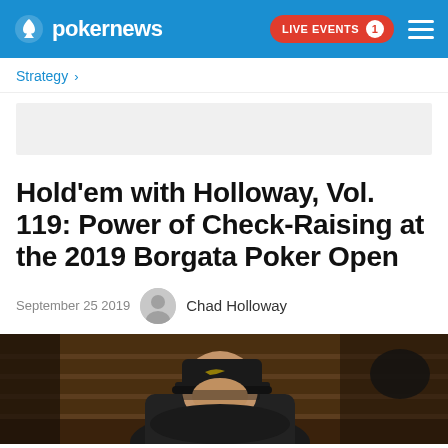pokernews — LIVE EVENTS 1
Strategy >
Hold'em with Holloway, Vol. 119: Power of Check-Raising at the 2019 Borgata Poker Open
September 25 2019   Chad Holloway
[Figure (photo): A person wearing a dark Nike cap and dark jacket sitting at what appears to be a poker table in a casino setting with wooden paneling in the background.]